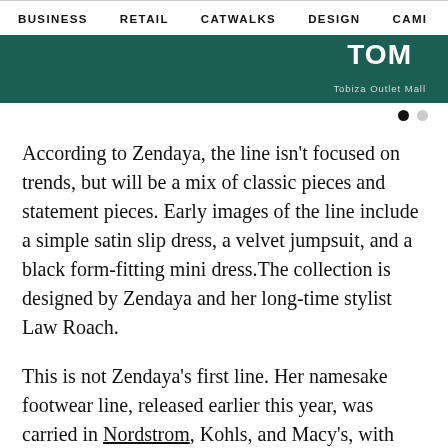BUSINESS   RETAIL   CATWALKS   DESIGN   CAMI  >
[Figure (other): Dark teal/green banner advertisement with TOM Tobias Outlet Mall logo in white text on the right side]
According to Zendaya, the line isn't focused on trends, but will be a mix of classic pieces and statement pieces. Early images of the line include a simple satin slip dress, a velvet jumpsuit, and a black form-fitting mini dress.The collection is designed by Zendaya and her long-time stylist Law Roach.
This is not Zendaya's first line. Her namesake footwear line, released earlier this year, was carried in Nordstrom, Kohls, and Macy's, with styles in the affordable range from $75–$110